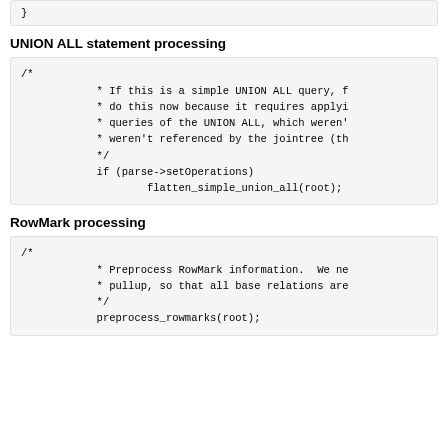}
UNION ALL statement processing
/*
            * If this is a simple UNION ALL query, f
            * do this now because it requires applyi
            * queries of the UNION ALL, which weren'
            * weren't referenced by the jointree (th
            */
            if (parse->setOperations)
                    flatten_simple_union_all(root);
RowMark processing
/*
            * Preprocess RowMark information.  We ne
            * pullup, so that all base relations are
            */
            preprocess_rowmarks(root);